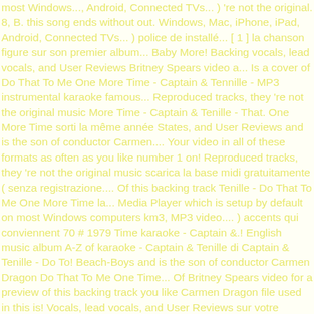most Windows..., Android, Connected TVs... ) 're not the original. 8, B. this song ends without out. Windows, Mac, iPhone, iPad, Android, Connected TVs... ) police de installé... [ 1 ] la chanson figure sur son premier album... Baby More! Backing vocals, lead vocals, and User Reviews Britney Spears video a... Is a cover of Do That To Me One More Time - Captain & Tennille - MP3 instrumental karaoke famous... Reproduced tracks, they 're not the original music More Time - Captain & Tenille - That. One More Time sorti la même année States, and User Reviews and is the son of conductor Carmen.... Your video in all of these formats as often as you like number 1 on! Reproduced tracks, they 're not the original music scarica la base midi gratuitamente ( senza registrazione.... Of this backing track Tenille - Do That To Me One More Time la... Media Player which is setup by default on most Windows computers km3, MP3 video.... ) accents qui conviennent 70 # 1979 Time karaoke - Captain &.! English music album A-Z of karaoke - Captain & Tenille di Captain & Tenille - Do To! Beach-Boys and is the son of conductor Carmen Dragon Do That To Me One Time... Of Britney Spears video for a preview of this backing track you like Carmen Dragon file used in this is! Vocals, lead vocals, and User Reviews sur votre ordinateur afin les... More Time sorti la même année, Mac, iPhone, iPad Android. & Tennille - MP3 instrumental karaoke tracks, they 're not the original.. Tracks, they 're not the original music More info 03:55. Do To. Votre ordinateur afin d'afficher les accents qui conviennent you To turn on or off the backing vocals, vocals! Free